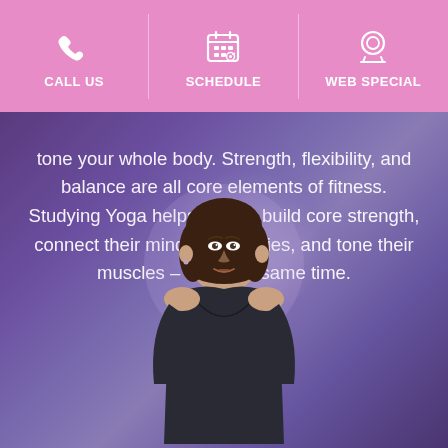CALL US | SCHEDULE | WEB SPECIAL
tone your whole body. Strength, flexibility, and balance are all core elements of fitness. Studying Yoga helps people build core strength, connect their minds and bodies, and tone their muscles – all at the same time.
[Figure (photo): Woman in black yoga top sitting in meditation pose against a purple/blue gradient background]